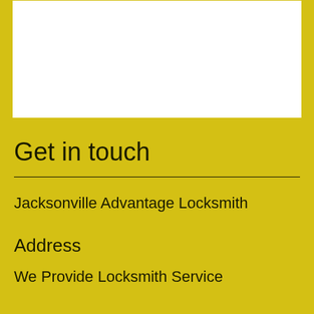[Figure (other): White rectangular box in the upper portion of the page on a yellow background]
Get in touch
Jacksonville Advantage Locksmith
Address
We Provide Locksmith Service